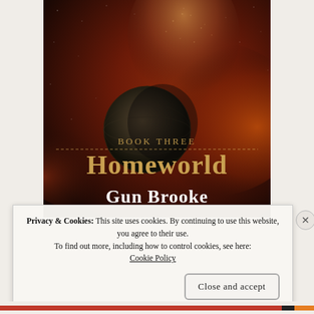[Figure (illustration): Book cover for 'Homeworld: Book Three' by Gun Brooke. Dark fantasy/sci-fi cover featuring a glittering face of a person against a red nebula background with a planet in the foreground. Text reads 'Book Three', 'Homeworld' in large ornate golden letters, and 'Gun Brooke' in large white serif font at the bottom of the cover.]
Privacy & Cookies: This site uses cookies. By continuing to use this website, you agree to their use.
To find out more, including how to control cookies, see here: Cookie Policy
Close and accept